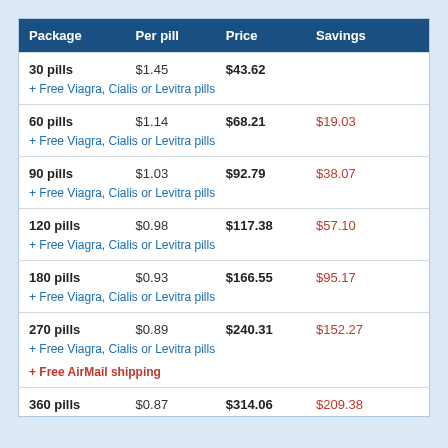| Package | Per pill | Price | Savings |
| --- | --- | --- | --- |
| 30 pills | $1.45 | $43.62 |  |
| + Free Viagra, Cialis or Levitra pills |  |  |  |
| 60 pills | $1.14 | $68.21 | $19.03 |
| + Free Viagra, Cialis or Levitra pills |  |  |  |
| 90 pills | $1.03 | $92.79 | $38.07 |
| + Free Viagra, Cialis or Levitra pills |  |  |  |
| 120 pills | $0.98 | $117.38 | $57.10 |
| + Free Viagra, Cialis or Levitra pills |  |  |  |
| 180 pills | $0.93 | $166.55 | $95.17 |
| + Free Viagra, Cialis or Levitra pills |  |  |  |
| 270 pills | $0.89 | $240.31 | $152.27 |
| + Free Viagra, Cialis or Levitra pills / + Free AirMail shipping |  |  |  |
| 360 pills | $0.87 | $314.06 | $209.38 |